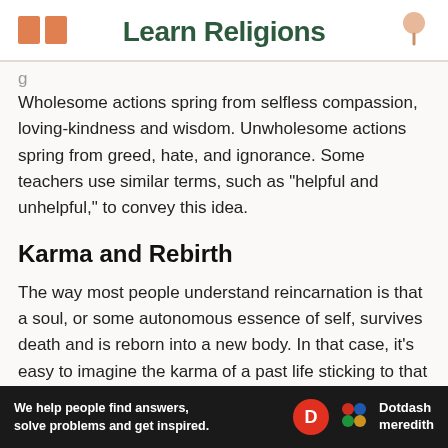Learn Religions
Wholesome actions spring from selfless compassion, loving-kindness and wisdom. Unwholesome actions spring from greed, hate, and ignorance. Some teachers use similar terms, such as "helpful and unhelpful," to convey this idea.
Karma and Rebirth
The way most people understand reincarnation is that a soul, or some autonomous essence of self, survives death and is reborn into a new body. In that case, it's easy to imagine the karma of a past life sticking to that
[Figure (infographic): Dotdash Meredith advertisement banner: 'We help people find answers, solve problems and get inspired.' with Dotdash Meredith logo]